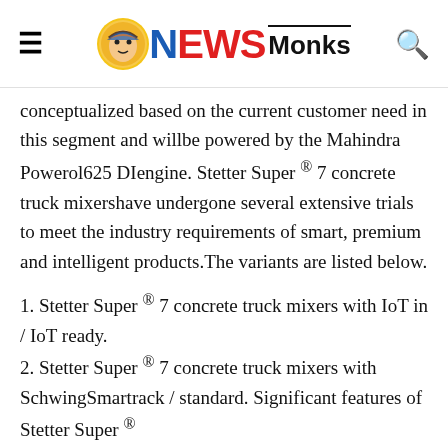NewsMonks
conceptualized based on the current customer need in this segment and willbe powered by the Mahindra Powerol625 DIengine. Stetter Super ® 7 concrete truck mixershave undergone several extensive trials to meet the industry requirements of smart, premium and intelligent products.The variants are listed below.
1. Stetter Super ® 7 concrete truck mixers with IoT in / IoT ready.
2. Stetter Super ® 7 concrete truck mixers with SchwingSmartrack / standard. Significant features of Stetter Super ®
7 concrete truck mixers arelisted below.
☑ Large loading volume